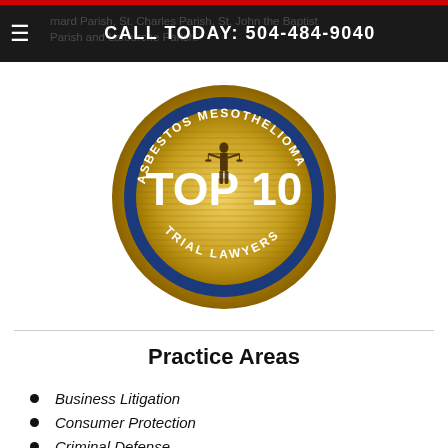CALL TODAY: 504-484-9040
Bernard Parish, St. Charles Parish, St. John the Baptist Parish and Lafourche Parish.
[Figure (logo): Asbestos Mesothelioma Top 10 Trial Lawyers badge/seal — circular gold and blue medallion with Lady Justice figure holding scales, text reading ASBESTOS MESOTHELIOMA around the top, TOP 10 in large white letters across center, TRIAL LAWYERS around the bottom.]
Practice Areas
Business Litigation
Consumer Protection
Criminal Defense